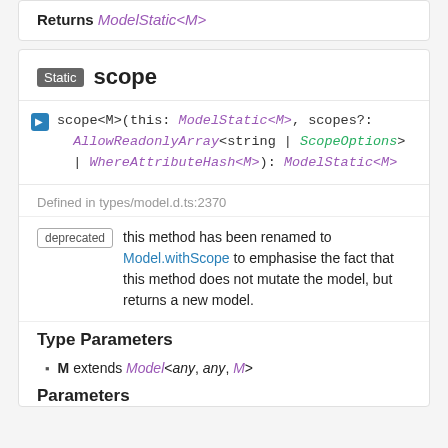Returns ModelStatic<M>
Static scope
scope<M>(this: ModelStatic<M>, scopes?: AllowReadonlyArray<string | ScopeOptions> | WhereAttributeHash<M>): ModelStatic<M>
Defined in types/model.d.ts:2370
deprecated — this method has been renamed to Model.withScope to emphasise the fact that this method does not mutate the model, but returns a new model.
Type Parameters
M extends Model<any, any, M>
Parameters